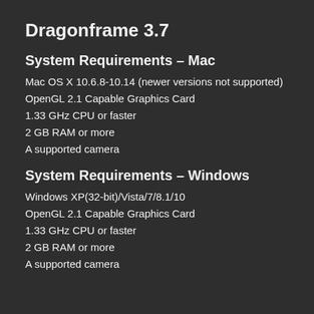Dragonframe 3.7
System Requirements – Mac
Mac OS X 10.6.8-10.14 (newer versions not supported)
OpenGL 2.1 Capable Graphics Card
1.33 GHz CPU or faster
2 GB RAM or more
A supported camera
System Requirements – Windows
Windows XP(32-bit)/Vista/7/8.1/10
OpenGL 2.1 Capable Graphics Card
1.33 GHz CPU or faster
2 GB RAM or more
A supported camera